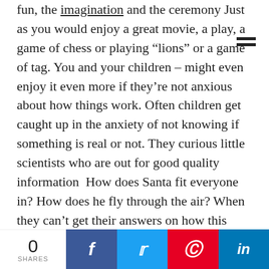fun, the imagination and the ceremony  Just as you would enjoy a great movie, a play, a game of chess or playing “lions” or a game of tag. You and your children – might even enjoy it even more if they’re not anxious about how things work. Often children get caught up in the anxiety of not knowing if something is real or not. They curious little scientists who are out for good quality information  How does Santa fit everyone in? How does he fly through the air? When they can’t get their answers on how this thing actually “works” they may feel nervous or confused. However, when they know it’s a game, it liberates them to enjoy the magic of the story
0 SHARES | Facebook | Twitter | Pinterest | LinkedIn